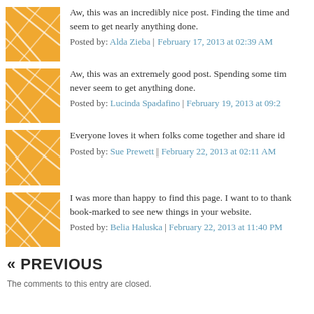Aw, this was an incredibly nice post. Finding the time and seem to get nearly anything done.
Posted by: Alda Zieba | February 17, 2013 at 02:39 AM
Aw, this was an extremely good post. Spending some time never seem to get anything done.
Posted by: Lucinda Spadafino | February 19, 2013 at 09:29
Everyone loves it when folks come together and share id
Posted by: Sue Prewett | February 22, 2013 at 02:11 AM
I was more than happy to find this page. I want to to thank book-marked to see new things in your website.
Posted by: Belia Haluska | February 22, 2013 at 11:40 PM
« PREVIOUS
The comments to this entry are closed.